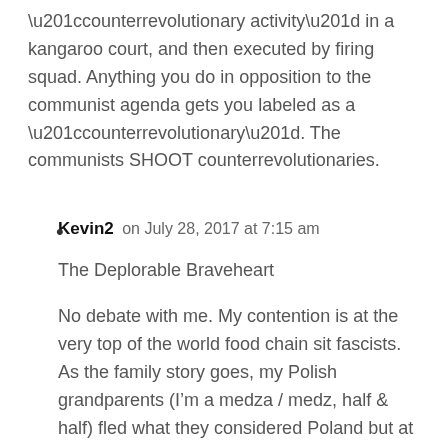“counterrevolutionary activity” in a kangaroo court, and then executed by firing squad. Anything you do in opposition to the communist agenda gets you labeled as a “counterrevolutionary”. The communists SHOOT counterrevolutionaries.
Kevin2 on July 28, 2017 at 7:15 am

The Deplorable Braveheart

No debate with me. My contention is at the very top of the world food chain sit fascists. As the family story goes, my Polish grandparents (I’m a medza / medz, half & half) fled what they considered Poland but at the time it was under Russia or Belarus because communism was spreading.